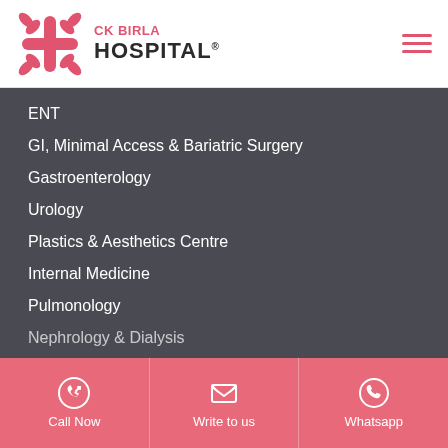[Figure (logo): CK Birla Hospital logo with pink snowflake/star icon and text 'CK BIRLA HOSPITAL®']
ENT
GI, Minimal Access & Bariatric Surgery
Gastroenterology
Urology
Plastics & Aesthetics Centre
Internal Medicine
Pulmonology
Nephrology & Dialysis
Call Now | Write to us | Whatsapp